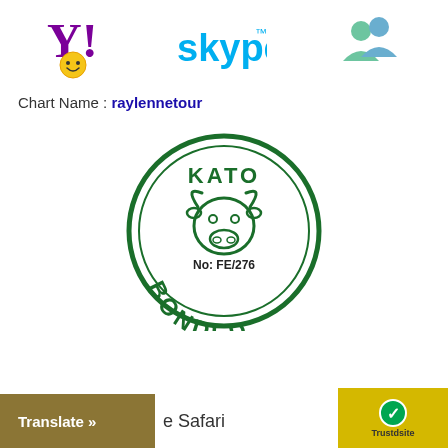[Figure (logo): Yahoo Messenger logo with smiley face emoji]
[Figure (logo): Skype logo]
[Figure (logo): MSN Messenger logo with two user figures]
Chart Name : raylennetour
[Figure (logo): KATO Bonded circular stamp seal with bull head graphic, No: FE/276]
[Figure (screenshot): Translate button and Safari text at bottom, with TrustaSite badge]